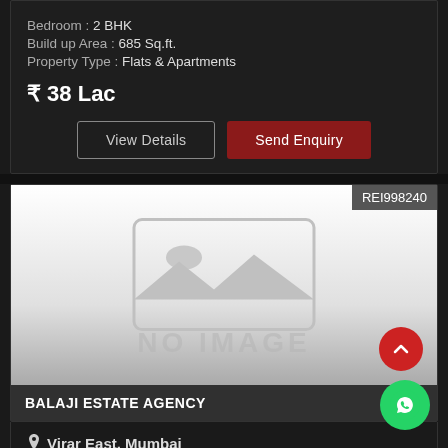Bedroom : 2 BHK
Build up Area : 685 Sq.ft.
Property Type : Flats & Apartments
₹ 38 Lac
View Details
Send Enquiry
REI998240
[Figure (photo): No image placeholder with grey image icon and text NO IMAGE]
BALAJI ESTATE AGENCY
Virar East, Mumbai
Bedroom : 2 BHK
Build up Area : 650 Sq.ft.
Property Type : Flats & Apartments